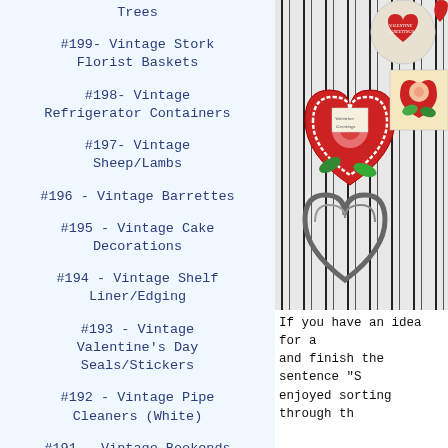Trees
#199- Vintage Stork Florist Baskets
#198- Vintage Refrigerator Containers
#197- Vintage Sheep/Lambs
#196 - Vintage Barrettes
#195 - Vintage Cake Decorations
#194 - Vintage Shelf Liner/Edging
#193 - Vintage Valentine's Day Seals/Stickers
#192 - Vintage Pipe Cleaners (White)
#191 - Vintage Bookends
[Figure (photo): Photo of vintage Valentine's Day cards with red hearts and roses on striped black and white fabric, with a metal heart-shaped cookie cutter]
If you have an idea for a and finish the sentence "S enjoyed sorting through th